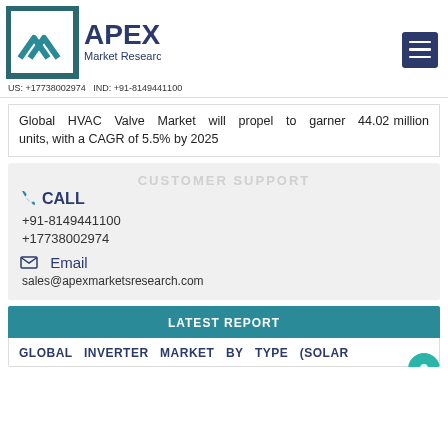APEX Market Research | US: +17738002974 IND: +91-8149441100
Global HVAC Valve Market will propel to garner 44.02 million units, with a CAGR of 5.5% by 2025
CUSTOMER SUPPORT
CALL
+91-8149441100
+17738002974
Email
sales@apexmarketsresearch.com
LATEST REPORT
GLOBAL INVERTER MARKET BY TYPE (SOLAR